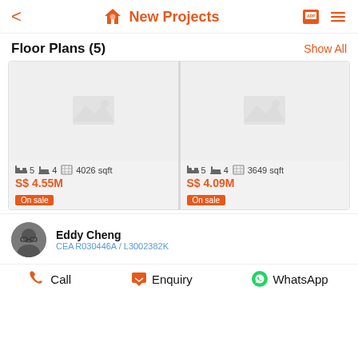New Projects
Floor Plans (5)
Show All
[Figure (screenshot): Floor plan card 1: image placeholder, 5 bed, 4 bath, 4026 sqft, S$ 4.55M, On sale]
[Figure (screenshot): Floor plan card 2: image placeholder, 5 bed, 4 bath, 3649 sqft, S$ 4.09M, On sale]
Eddy Cheng
CEA R030446A / L3002382K
Call
Enquiry
WhatsApp